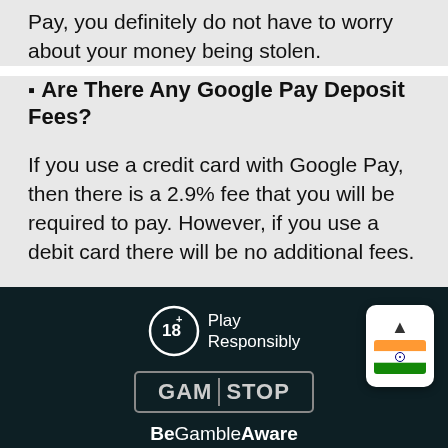Pay, you definitely do not have to worry about your money being stolen.
⬛ Are There Any Google Pay Deposit Fees?
If you use a credit card with Google Pay, then there is a 2.9% fee that you will be required to pay. However, if you use a debit card there will be no additional fees.
[Figure (logo): 18+ Play Responsibly logo with circular icon]
[Figure (logo): GamStop logo in bordered box]
[Figure (logo): BeGambleAware logo]
Site Map   Twitter
©2022www.cricketonlinebetting.in